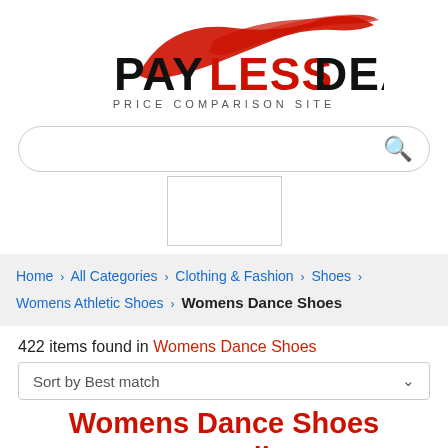[Figure (logo): PayLessDeal Price Comparison Site logo with red brushstroke above bold black and red text]
[Figure (screenshot): Search bar with rounded corners and blue magnifying glass icon]
[Figure (other): Small rectangular placeholder box]
Home > All Categories > Clothing & Fashion > Shoes > Womens Athletic Shoes > Womens Dance Shoes
422 items found in Womens Dance Shoes
Sort by Best match
Womens Dance Shoes Australia